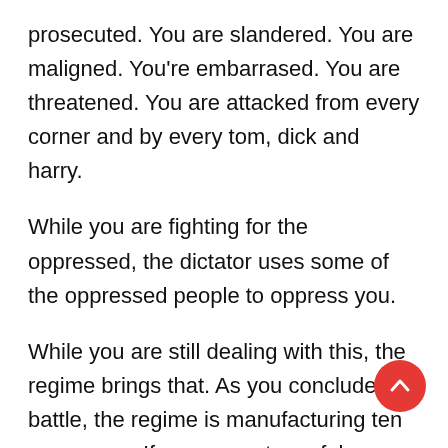prosecuted. You are slandered. You are maligned. You're embarrased. You are threatened. You are attacked from every corner and by every tom, dick and harry.
While you are fighting for the oppressed, the dictator uses some of the oppressed people to oppress you.
While you are still dealing with this, the regime brings that. As you conclude one battle, the regime is manufacturing ten more wars. If you are not careful, you can easily faint and give up. But you must persevere. You must keep your focus. You must not lose your head.